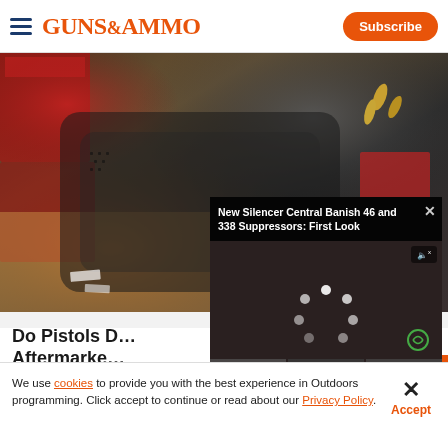GUNS&AMMO — Subscribe
[Figure (photo): Close-up photo of a textured black pistol grip with ammunition boxes and bullets in the background on a sandy surface]
[Figure (screenshot): Video overlay player showing 'New Silencer Central Banish 46 and 338 Suppressors: First Look' with loading spinner, mute button, play button and expand controls]
Do Pistols D… Aftermarke…
Jeremy Staffo…
We use cookies to provide you with the best experience in Outdoors programming. Click accept to continue or read about our Privacy Policy.